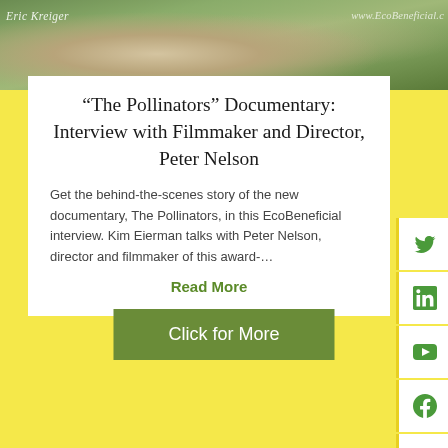[Figure (photo): Partial photo of a person outdoors with camera equipment, with photo credits 'Eric Kreiger' on the left and 'www.EcoBeneficial.c' on the right]
“The Pollinators” Documentary: Interview with Filmmaker and Director, Peter Nelson
Get the behind-the-scenes story of the new documentary, The Pollinators, in this EcoBeneficial interview. Kim Eierman talks with Peter Nelson, director and filmmaker of this award-…
Read More
[Figure (infographic): Social media sidebar icons: Twitter, LinkedIn, YouTube, Facebook, Instagram, Pinterest]
Click for More